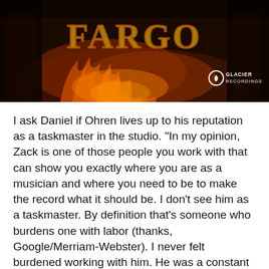[Figure (photo): Dark fantasy game artwork showing 'Fargo' title text with fire and dramatic lighting. Glacier Recordings logo badge visible in bottom right corner.]
I ask Daniel if Ohren lives up to his reputation as a taskmaster in the studio. "In my opinion, Zack is one of those people you work with that can show you exactly where you are as a musician and where you need to be to make the record what it should be. I don't see him as a taskmaster. By definition that's someone who burdens one with labor (thanks, Google/Merriam-Webster). I never felt burdened working with him. He was a constant guide toward my best performance in front of that microphone and I thrived in the booth with him at the controls. He was straight forward and constructive every step of the way. No sugar coating, no disrespect, no time wasted and we even had fun during the sessions! So, either I'm hella good and I softened his music-genius heart, or people need to